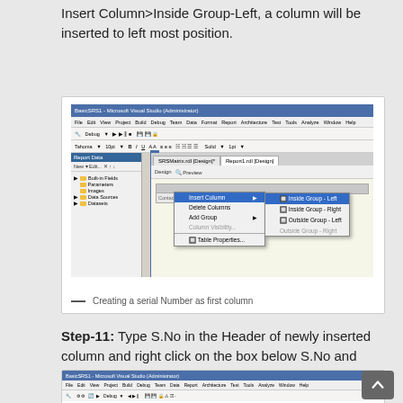Insert Column>Inside Group-Left, a column will be inserted to left most position.
[Figure (screenshot): Screenshot of Microsoft Visual Studio showing a context menu with Insert Column submenu expanded, highlighting 'Inside Group - Left' option. The submenu shows: Inside Group - Left, Inside Group - Right, Outside Group - Left, Outside Group - Right.]
— Creating a serial Number as first column
Step-11: Type S.No in the Header of newly inserted column and right click on the box below S.No and click on expression.
[Figure (screenshot): Partial screenshot of Microsoft Visual Studio at the bottom of the page.]